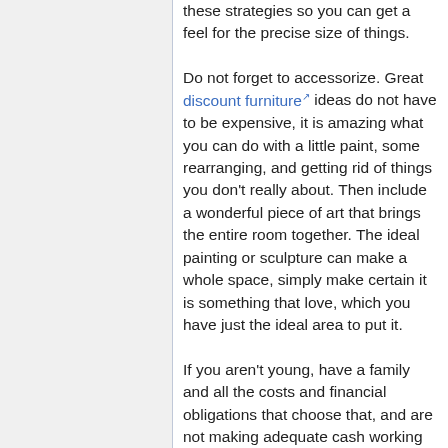these strategies so you can get a feel for the precise size of things.
Do not forget to accessorize. Great discount furniture ideas do not have to be expensive, it is amazing what you can do with a little paint, some rearranging, and getting rid of things you don't really about. Then include a wonderful piece of art that brings the entire room together. The ideal painting or sculpture can make a whole space, simply make certain it is something that love, which you have just the ideal area to put it.
If you aren't young, have a family and all the costs and financial obligations that choose that, and are not making adequate cash working for somebody else to get ahead, you do not have the